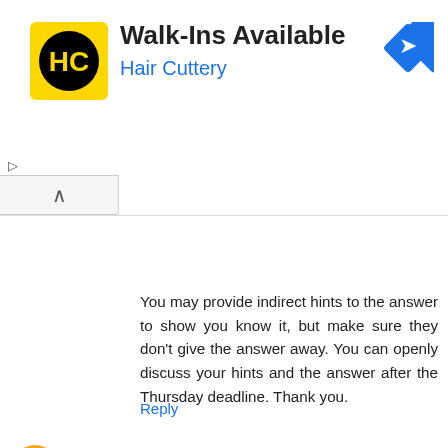[Figure (advertisement): Hair Cuttery ad banner with logo (HC in black circle on yellow square) and blue navigation arrow icon. Text: Walk-Ins Available, Hair Cuttery]
You may provide indirect hints to the answer to show you know it, but make sure they don't give the answer away. You can openly discuss your hints and the answer after the Thursday deadline. Thank you.
Reply
Siz  Sun May 28, 07:42:00 AM PDT
I don't think James Bond would much appreciate this week's puzzle.
Reply
▼  Replies
Ralph Loizzo  Thu Jun 01, 02:56:00 PM PDT